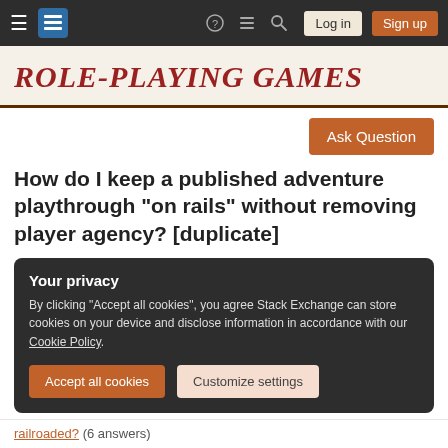Role-playing Games Stack Exchange — Navigation bar with Log in and Sign up buttons
ROLE-PLAYING GAMES
Ask Question
How do I keep a published adventure playthrough "on rails" without removing player agency? [duplicate]
Your privacy
By clicking "Accept all cookies", you agree Stack Exchange can store cookies on your device and disclose information in accordance with our Cookie Policy.
Accept all cookies   Customize settings
railroaded? (6 answers)